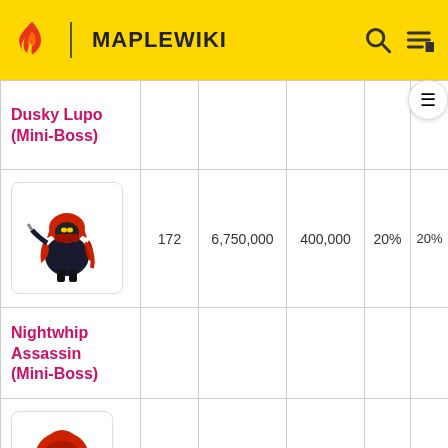MAPLEWIKI
| Name | Level | HP | EXP | % | % |
| --- | --- | --- | --- | --- | --- |
| Dusky Lupo (Mini-Boss) |  |  |  |  |  |
| Nightwhip Assassin (Mini-Boss) | 172 | 6,750,000 | 400,000 | 20% | 20% |
| Nightcutter Assassin (Mini-Boss) | 176 | 7,350,000 | 400,000 | 20% | 20% |